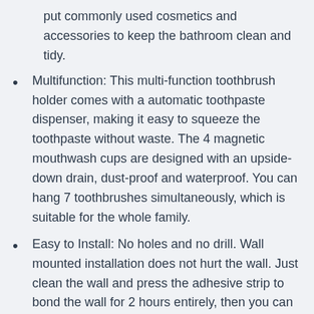put commonly used cosmetics and accessories to keep the bathroom clean and tidy.
Multifunction: This multi-function toothbrush holder comes with a automatic toothpaste dispenser, making it easy to squeeze the toothpaste without waste. The 4 magnetic mouthwash cups are designed with an upside-down drain, dust-proof and waterproof. You can hang 7 toothbrushes simultaneously, which is suitable for the whole family.
Easy to Install: No holes and no drill. Wall mounted installation does not hurt the wall. Just clean the wall and press the adhesive strip to bond the wall for 2 hours entirely, then you can hang the tooth brush holder.